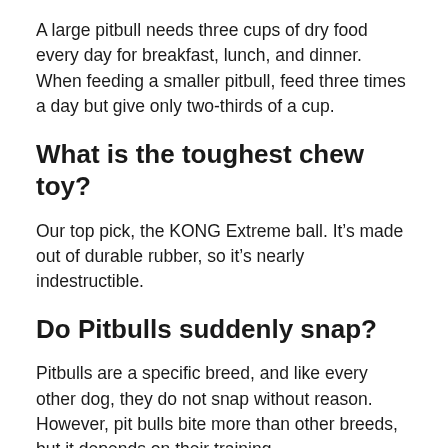A large pitbull needs three cups of dry food every day for breakfast, lunch, and dinner. When feeding a smaller pitbull, feed three times a day but give only two-thirds of a cup.
What is the toughest chew toy?
Our top pick, the KONG Extreme ball. It’s made out of durable rubber, so it’s nearly indestructible.
Do Pitbulls suddenly snap?
Pitbulls are a specific breed, and like every other dog, they do not snap without reason. However, pit bulls bite more than other breeds, but it depends on their training.